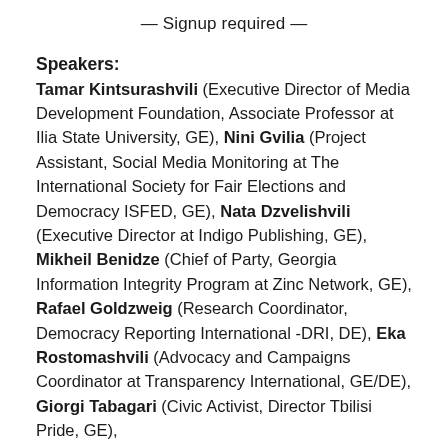— Signup required —
Speakers: Tamar Kintsurashvili (Executive Director of Media Development Foundation, Associate Professor at Ilia State University, GE), Nini Gvilia (Project Assistant, Social Media Monitoring at The International Society for Fair Elections and Democracy ISFED, GE), Nata Dzvelishvili (Executive Director at Indigo Publishing, GE), Mikheil Benidze (Chief of Party, Georgia Information Integrity Program at Zinc Network, GE), Rafael Goldzweig (Research Coordinator, Democracy Reporting International -DRI, DE), Eka Rostomashvili (Advocacy and Campaigns Coordinator at Transparency International, GE/DE), Giorgi Tabagari (Civic Activist, Director Tbilisi Pride, GE),